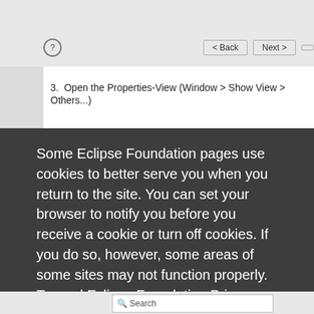3. Open the Properties-View (Window > Show View > Others...)
Some Eclipse Foundation pages use cookies to better serve you when you return to the site. You can set your browser to notify you before you receive a cookie or turn off cookies. If you do so, however, some areas of some sites may not function properly. To read Eclipse Foundation Privacy Policy
click here.
Decline
Allow cookies
Search